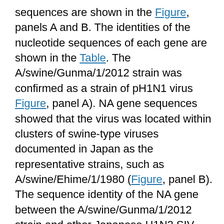sequences are shown in the Figure, panels A and B. The identities of the nucleotide sequences of each gene are shown in the Table. The A/swine/Gunma/1/2012 strain was confirmed as a strain of pH1N1 virus Figure, panel A). NA gene sequences showed that the virus was located within clusters of swine-type viruses documented in Japan as the representative strains, such as A/swine/Ehime/1/1980 (Figure, panel B). The sequence identity of the NA gene between the A/swine/Gunma/1/2012 strain and other Japanese H1N2 SIV strains ranged from 85.0 to 97.5%. The identities of other genes between the A/swine/Gunma/1/2012 strain and pH1N1 virus vaccine strain (A/California/07/2009) were highly homologous (>90%; Table). These results suggest that the A/swine/Gunma/1/2012 strain was a new reassortant of the H1N2 SIV subtype derived from